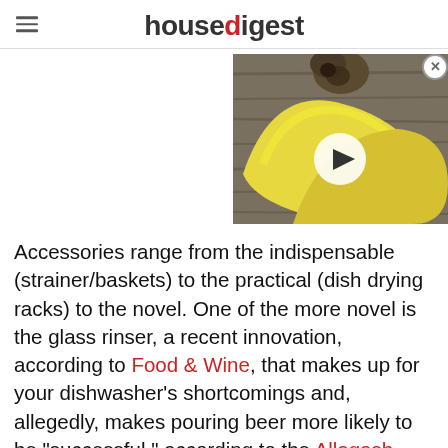housedigest
[Figure (photo): Video thumbnail showing yellow bananas on a wooden surface with a white play button overlay]
Accessories range from the indispensable (strainer/baskets) to the practical (dish drying racks) to the novel. One of the more novel is the glass rinser, a recent innovation, according to Food & Wine, that makes up for your dishwasher's shortcomings and, allegedly, makes pouring beer more likely to be "successful," according to the Allagash Brewing Company...